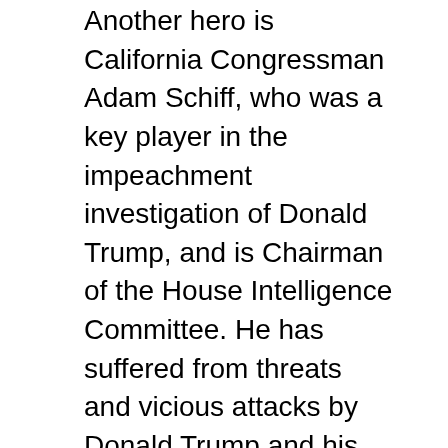Another hero is California Congressman Adam Schiff, who was a key player in the impeachment investigation of Donald Trump, and is Chairman of the House Intelligence Committee. He has suffered from threats and vicious attacks by Donald Trump and his minions, but has demonstrated courage and conviction in an admirable manner.
Another hero is South Carolina Congressman James Clyburn, the highest ranked African American in Congress as House Majority Whip, third ranking leadership role. If it were not for Clyburn, Joe Biden would not have been able to become the Democratic Presidential nominee this year, as Clyburn's endorsement was a major factor in Biden winning the South Carolina Primary and moving forward to the top of the Democratic Presidential ticket.